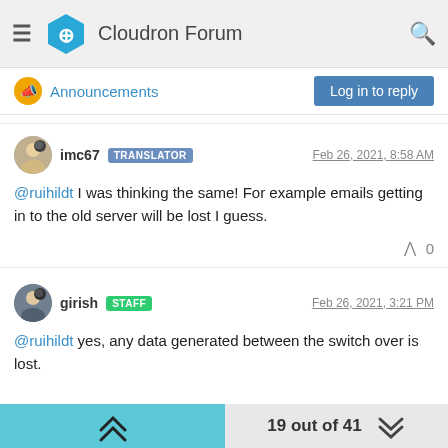Cloudron Forum
Announcements
Log in to reply
imc67 TRANSLATOR Feb 26, 2021, 8:58 AM
@ruihildt I was thinking the same! For example emails getting in to the old server will be lost I guess.
girish STAFF Feb 26, 2021, 3:21 PM
@ruihildt yes, any data generated between the switch over is lost.
19 out of 41